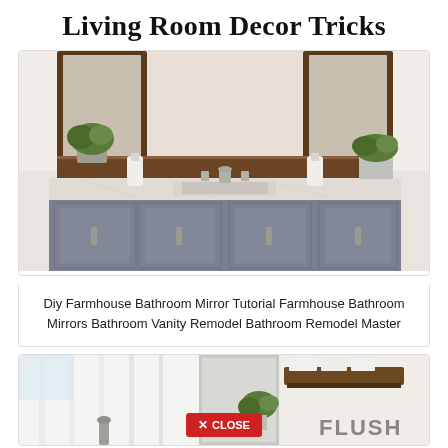Living Room Decor Tricks
[Figure (photo): Farmhouse bathroom vanity with gray cabinets, marble countertop, white sink, soap dispensers, and potted green plants, with wood-framed mirrors in background]
Diy Farmhouse Bathroom Mirror Tutorial Farmhouse Bathroom Mirrors Bathroom Vanity Remodel Bathroom Remodel Master
[Figure (photo): Bathroom interior with white shower curtain, faucet, green plant, rustic wood shelf with towels, and a FLUSH sign on wall; red CLOSE button overlay at bottom center]